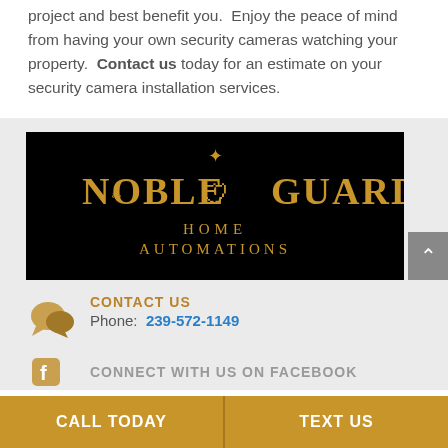project and best benefit you.  Enjoy the peace of mind from having your own security cameras watching your property.  Contact us today for an estimate on your security camera installation services.
[Figure (logo): Noble Guard Home Automations logo — gold text on black background with heraldic crest]
CONTACT US
Phone: 239-572-1149
CONNECT WITH US ON FACEBOOK
CALL TODAY
TEXT US